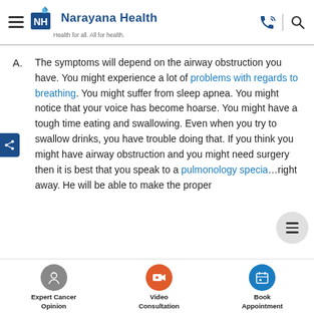Narayana Health — Health for all. All for health.
A. The symptoms will depend on the airway obstruction you have. You might experience a lot of problems with regards to breathing. You might suffer from sleep apnea. You might notice that your voice has become hoarse. You might have a tough time eating and swallowing. Even when you try to swallow drinks, you have trouble doing that. If you think you might have airway obstruction and you might need surgery then it is best that you speak to a pulmonology specialist right away. He will be able to make the proper
Expert Cancer Opinion | Video Consultation | Book Appointment